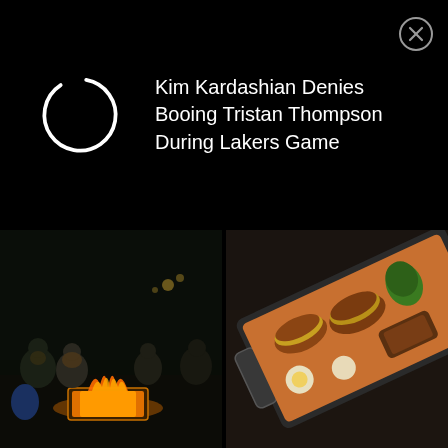[Figure (screenshot): Mobile browser notification banner on black background showing a loading spinner circle on the left and text 'Kim Kardashian Denies Booing Tristan Thompson During Lakers Game' with a close (X) button on the right]
[Figure (photo): Group of people sitting around a glowing campfire / fire pit in a dark wooded outdoor setting at night]
[Figure (photo): An outdoor grill / portable cooler with food inside (burgers, vegetables) photographed from above at an angle on dark ground]
[Figure (photo): Rear of a pickup truck with firewood logs stacked in the truck bed, outdoor daytime setting with trees]